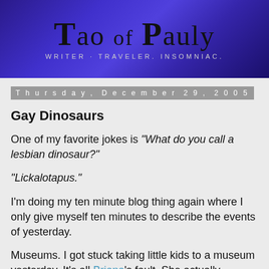[Figure (illustration): Blog header banner with dark blue/purple gradient background. Large hand-lettered title 'TAO of PAULY' with subtitle 'WRITER. TRAVELER. INSOMNIAC.']
Thursday, December 29, 2005
Gay Dinosaurs
One of my favorite jokes is "What do you call a lesbian dinosaur?"
"Lickalotapus."
I'm doing my ten minute blog thing again where I only give myself ten minutes to describe the events of yesterday.
Museums. I got stuck taking little kids to a museum yesterday. It's all Briana's fault. She actually volunteered to babysit her cousin's two bratty, spoiled, white-bread,